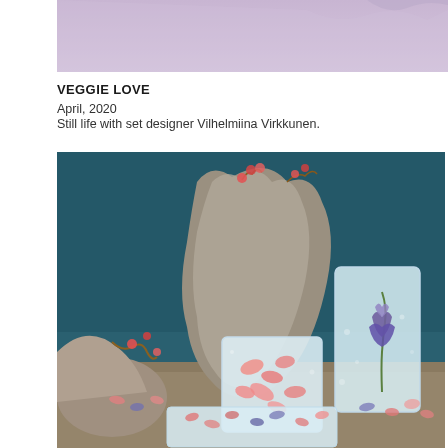[Figure (photo): Top portion of a photo with lavender/purple toned background, cropped at the top of the page]
VEGGIE LOVE
April, 2020
Still life with set designer Vilhelmiina Virkkunen.
[Figure (photo): Still life photograph showing ice blocks with frozen flowers (pink petals and purple iris), set against a dark teal background with rocks and small red flowers on top]